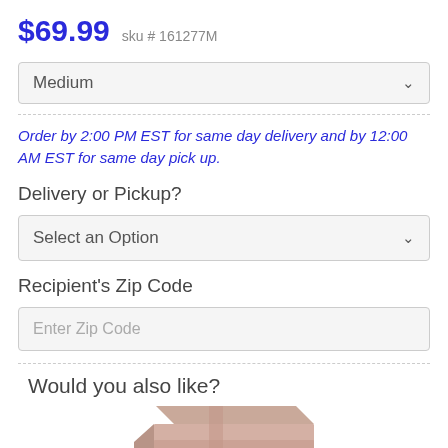$69.99  sku # 161277M
Medium
Order by 2:00 PM EST for same day delivery and by 12:00 AM EST for same day pick up.
Delivery or Pickup?
Select an Option
Recipient's Zip Code
Enter Zip Code
Would you also like?
[Figure (photo): Partial view of a gift box with rose/dusty pink color at the bottom of the page]